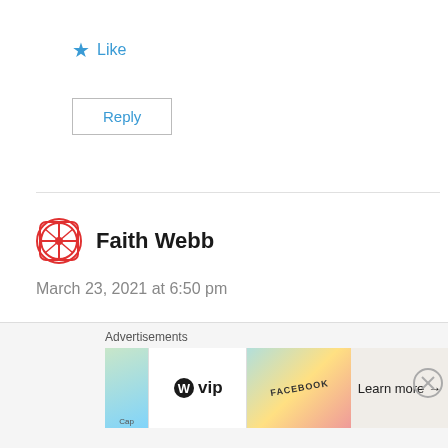★ Like
Reply
Faith Webb
March 23, 2021 at 6:50 pm
My Beautiful Sister!
Advertisements
[Figure (logo): WordPress VIP advertisement banner]
Learn more →